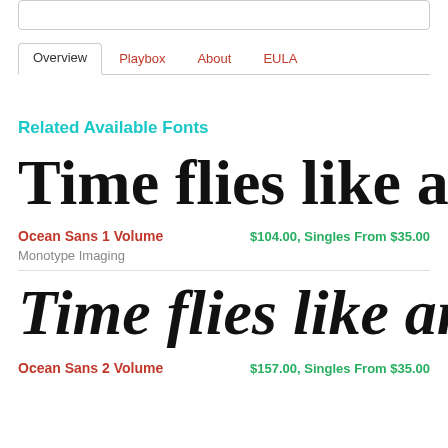[Figure (screenshot): Search bar input field at top]
Overview | Playbox | About | EULA
Related Available Fonts
Time flies like an arro
Ocean Sans 1 Volume
$104.00, Singles From $35.00
Monotype Imaging
Time flies like an arro
Ocean Sans 2 Volume
$157.00, Singles From $35.00